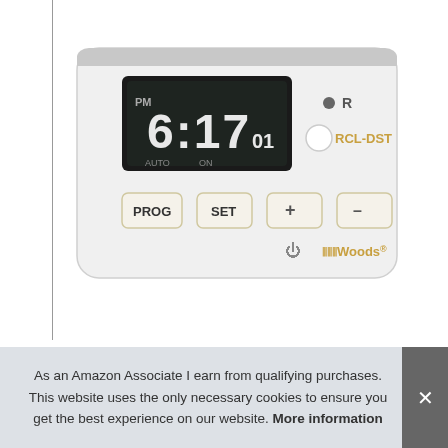[Figure (photo): Woods digital programmable timer device with LCD display showing 6:17:01 PM with AUTO and ON indicators, four buttons (PROG, SET, +, -), RCL-DST button, power symbol, and Woods brand logo.]
As an Amazon Associate I earn from qualifying purchases. This website uses the only necessary cookies to ensure you get the best experience on our website. More information
Wo